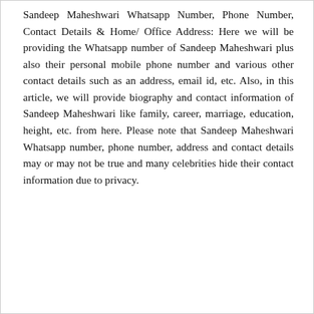Sandeep Maheshwari Whatsapp Number, Phone Number, Contact Details & Home/ Office Address: Here we will be providing the Whatsapp number of Sandeep Maheshwari plus also their personal mobile phone number and various other contact details such as an address, email id, etc. Also, in this article, we will provide biography and contact information of Sandeep Maheshwari like family, career, marriage, education, height, etc. from here. Please note that Sandeep Maheshwari Whatsapp number, phone number, address and contact details may or may not be true and many celebrities hide their contact information due to privacy.